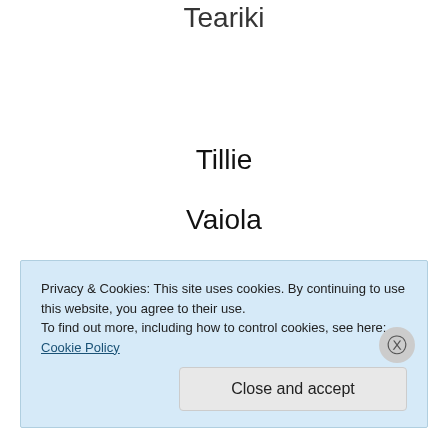Teariki
Tillie
Vaiola
Winter
Privacy & Cookies: This site uses cookies. By continuing to use this website, you agree to their use.
To find out more, including how to control cookies, see here: Cookie Policy